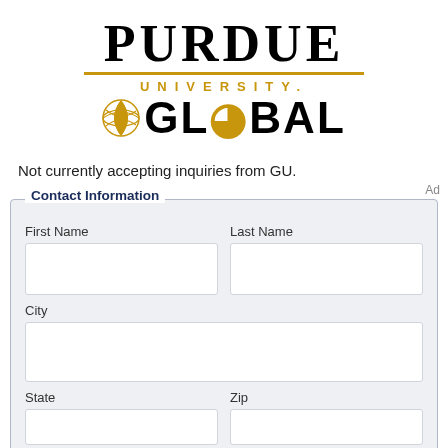[Figure (logo): Purdue University Global logo with globe icon]
Not currently accepting inquiries from GU.
Ad
Contact Information
| First Name | Last Name |
| --- | --- |
|  |  |
| City |
| --- |
|  |
| State | Zip |
| --- | --- |
|  |  |